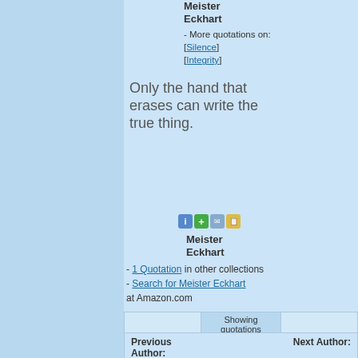Meister Eckhart
- More quotations on: [Silence] [Integrity]
Only the hand that erases can write the true thing.
[Figure (other): Four small icon buttons: info (blue i), add (green plus), email (envelope), note (notepad)]
Meister Eckhart
- 1 Quotation in other collections
- Search for Meister Eckhart at Amazon.com
|  | Showing quotations
1 to 3 of 3 total |  |
| --- | --- | --- |
|  |
| Previous Author: | Next Author: |
| --- | --- |
|  |